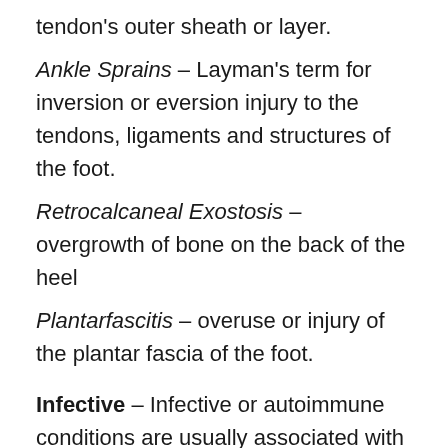tendon's outer sheath or layer.
Ankle Sprains – Layman's term for inversion or eversion injury to the tendons, ligaments and structures of the foot.
Retrocalcaneal Exostosis – overgrowth of bone on the back of the heel
Plantarfascitis – overuse or injury of the plantar fascia of the foot.
Infective – Infective or autoimmune conditions are usually associated with increases in temperature, systemic sickness and night pain.
Rheumatoid Factors – Systemic autoimmune condition which may lead to inflammation within the